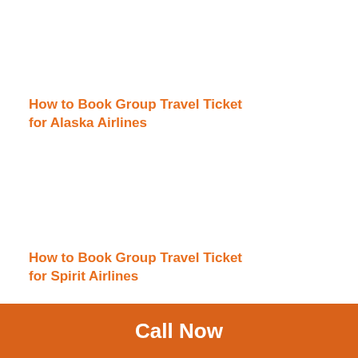How to Book Group Travel Ticket for Alaska Airlines
How to Book Group Travel Ticket for Spirit Airlines
Call Now